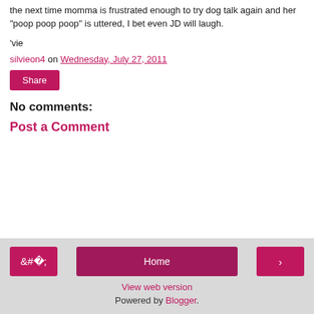the next time momma is frustrated enough to try dog talk again and her "poop poop poop" is uttered, I bet even JD will laugh.
'vie
silvieon4 on Wednesday, July 27, 2011
Share
No comments:
Post a Comment
< Home > View web version Powered by Blogger.